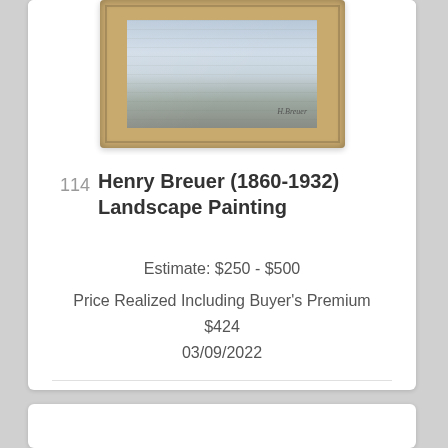[Figure (photo): Framed landscape painting in a wooden frame with a seascape or cloudy sky scene, partially visible at top of card]
114  Henry Breuer (1860-1932) Landscape Painting
Estimate: $250 - $500
Price Realized Including Buyer's Premium $424
03/09/2022